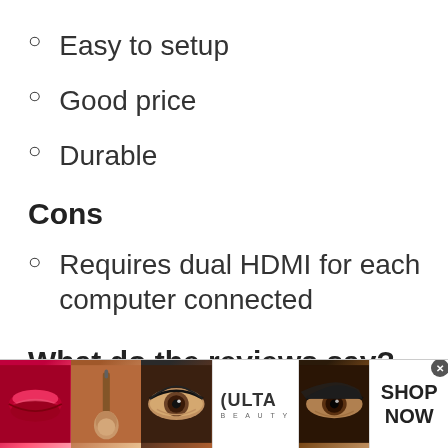Easy to setup
Good price
Durable
Cons
Requires dual HDMI for each computer connected
What do the reviews say?
[Figure (photo): Advertisement banner for Ulta Beauty showing makeup product images (lips with lipstick, makeup brush, eye with makeup, Ulta Beauty logo, eye with dramatic makeup) with SHOP NOW call to action]